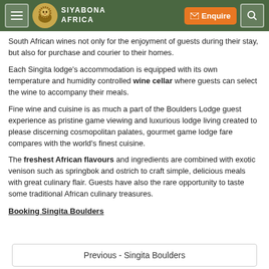Siyabona Africa — Enquire
South African wines not only for the enjoyment of guests during their stay, but also for purchase and courier to their homes.
Each Singita lodge's accommodation is equipped with its own temperature and humidity controlled wine cellar where guests can select the wine to accompany their meals.
Fine wine and cuisine is as much a part of the Boulders Lodge guest experience as pristine game viewing and luxurious lodge living created to please discerning cosmopolitan palates, gourmet game lodge fare compares with the world's finest cuisine.
The freshest African flavours and ingredients are combined with exotic venison such as springbok and ostrich to craft simple, delicious meals with great culinary flair. Guests have also the rare opportunity to taste some traditional African culinary treasures.
Booking Singita Boulders
Previous - Singita Boulders